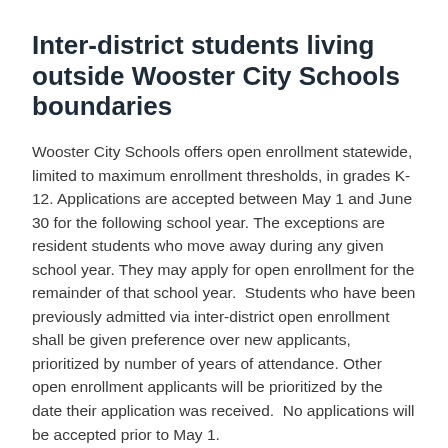Inter-district students living outside Wooster City Schools boundaries
Wooster City Schools offers open enrollment statewide, limited to maximum enrollment thresholds, in grades K-12. Applications are accepted between May 1 and June 30 for the following school year. The exceptions are resident students who move away during any given school year. They may apply for open enrollment for the remainder of that school year.  Students who have been previously admitted via inter-district open enrollment shall be given preference over new applicants, prioritized by number of years of attendance. Other open enrollment applicants will be prioritized by the date their application was received.  No applications will be accepted prior to May 1.
All open enrollment applications will be...